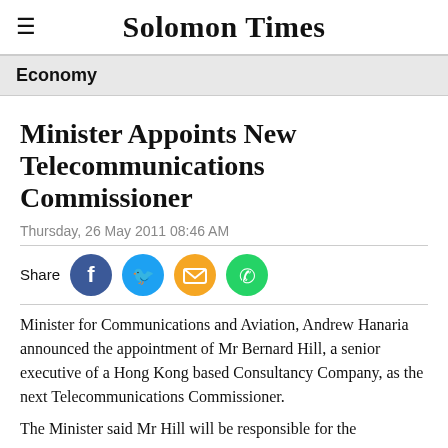Solomon Times
Economy
Minister Appoints New Telecommunications Commissioner
Thursday, 26 May 2011 08:46 AM
[Figure (infographic): Share row with Facebook, Twitter, Email, and WhatsApp circular icon buttons]
Minister for Communications and Aviation, Andrew Hanaria announced the appointment of Mr Bernard Hill, a senior executive of a Hong Kong based Consultancy Company, as the next Telecommunications Commissioner.
The Minister said Mr Hill will be responsible for the